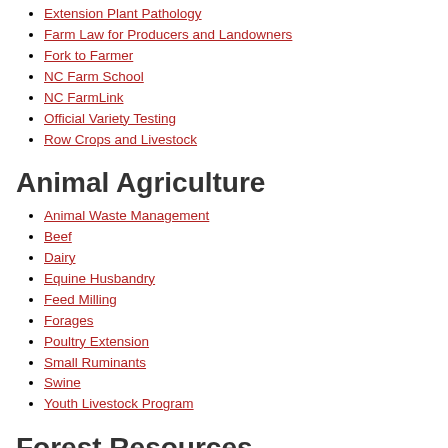Extension Plant Pathology
Farm Law for Producers and Landowners
Fork to Farmer
NC Farm School
NC FarmLink
Official Variety Testing
Row Crops and Livestock
Animal Agriculture
Animal Waste Management
Beef
Dairy
Equine Husbandry
Feed Milling
Forages
Poultry Extension
Small Ruminants
Swine
Youth Livestock Program
Forest Resources